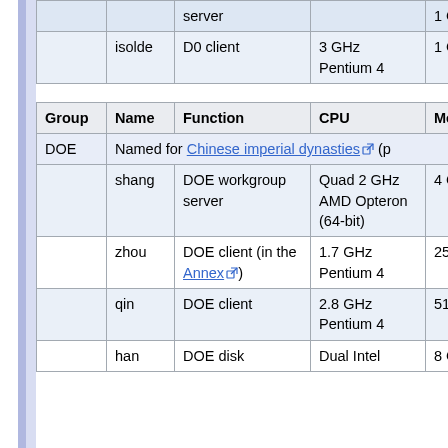| Group | Name | Function | CPU | Mem |
| --- | --- | --- | --- | --- |
|  |  | server |  | 1 G |
|  | isolde | D0 client | 3 GHz Pentium 4 | 1 G |
| Group | Name | Function | CPU | Mem |
| DOE | Named for Chinese imperial dynasties (p |  |  |  |
| DOE | shang | DOE workgroup server | Quad 2 GHz AMD Opteron (64-bit) | 4 GB |
|  | zhou | DOE client (in the Annex) | 1.7 GHz Pentium 4 | 256 M |
|  | qin | DOE client | 2.8 GHz Pentium 4 | 512 M |
|  | han | DOE disk | Dual Intel | 8 GB |